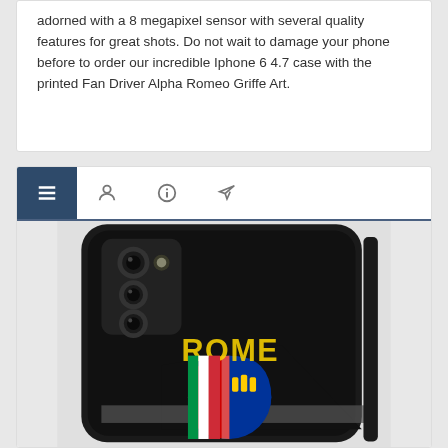adorned with a 8 megapixel sensor with several quality features for great shots. Do not wait to damage your phone before to order our incredible Iphone 6 4.7 case with the printed Fan Driver Alpha Romeo Griffe Art.
[Figure (screenshot): Navigation bar with hamburger menu icon (active/highlighted in dark blue), person icon, info icon, and rocket/send icon. Below is a product photo of a smartphone case with Alpha Romeo Griffe Art design on black background.]